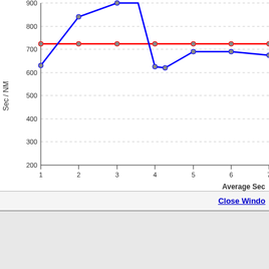[Figure (line-chart): Sec / NM vs Average Sec]
Close Window
Copyright © North Technology Group LLC 2000-2022